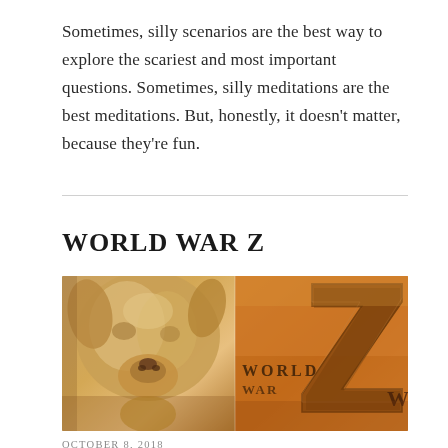Sometimes, silly scenarios are the best way to explore the scariest and most important questions. Sometimes, silly meditations are the best meditations. But, honestly, it doesn’t matter, because they’re fun.
WORLD WAR Z
[Figure (photo): Two-panel image: left side shows a close-up of a dog or animal face in warm sepia/amber tones; right side shows the World War Z movie poster with a large metallic 'Z' letter and the text 'WORLD W' visible in a dusty orange background.]
OCTOBER 8, 2018